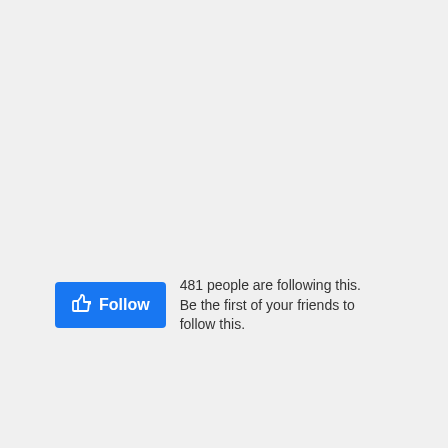[Figure (screenshot): A Facebook-style Follow button (blue, with thumbs-up icon and 'Follow' text) alongside the text '481 people are following this. Be the first of your friends to follow this.']
481 people are following this. Be the first of your friends to follow this.